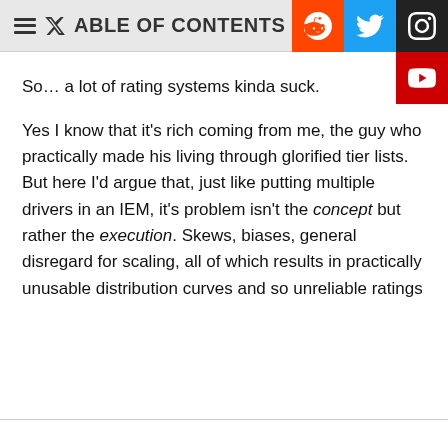TABLE OF CONTENTS
So… a lot of rating systems kinda suck.
Yes I know that it's rich coming from me, the guy who practically made his living through glorified tier lists. But here I'd argue that, just like putting multiple drivers in an IEM, it's problem isn't the concept but rather the execution. Skews, biases, general disregard for scaling, all of which results in practically unusable distribution curves and so unreliable ratings